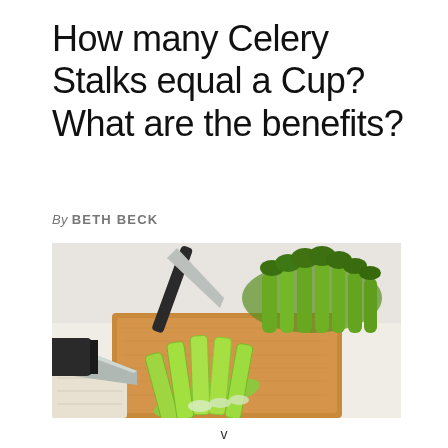How many Celery Stalks equal a Cup? What are the benefits?
By BETH BECK
[Figure (photo): Cut celery stalks arranged on a wooden cutting board with a large knife, whole celery bunch in the background on a white surface.]
v